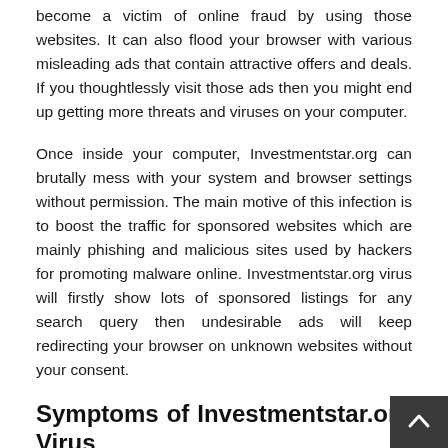become a victim of online fraud by using those websites. It can also flood your browser with various misleading ads that contain attractive offers and deals. If you thoughtlessly visit those ads then you might end up getting more threats and viruses on your computer.
Once inside your computer, Investmentstar.org can brutally mess with your system and browser settings without permission. The main motive of this infection is to boost the traffic for sponsored websites which are mainly phishing and malicious sites used by hackers for promoting malware online. Investmentstar.org virus will firstly show lots of sponsored listings for any search query then undesirable ads will keep redirecting your browser on unknown websites without your consent.
Symptoms of Investmentstar.org Virus
It slows down your Internet speed.